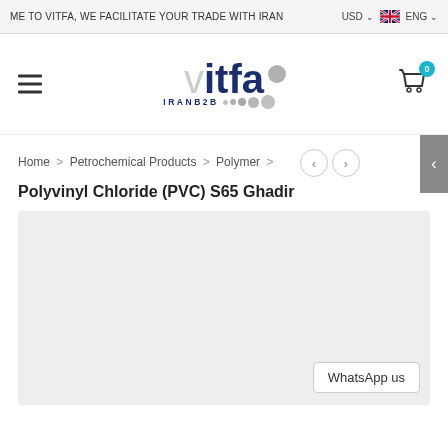ME TO VITFA, WE FACILITATE YOUR TRADE WITH IRAN   USD ∨   ENG ∨
[Figure (logo): vitfa IRANB2B logo with decorative dots]
Home > Petrochemical Products > Polymer >
Polyvinyl Chloride (PVC) S65 Ghadir
[Figure (photo): Product image placeholder - light gray background]
WhatsApp us